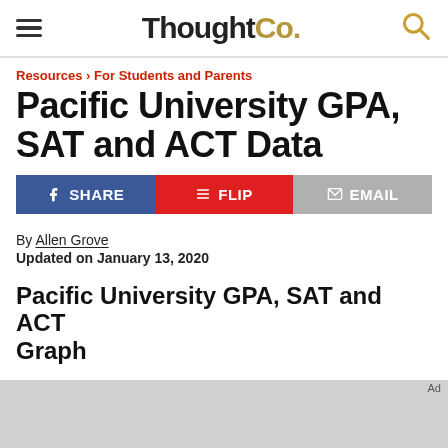ThoughtCo.
Resources › For Students and Parents
Pacific University GPA, SAT and ACT Data
SHARE | FLIP | EMAIL
By Allen Grove
Updated on January 13, 2020
Pacific University GPA, SAT and ACT Graph
[Figure (other): Advertisement placeholder (gray box)]